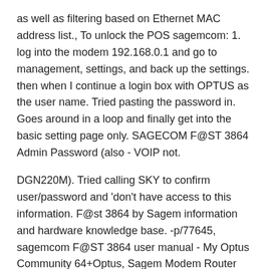as well as filtering based on Ethernet MAC address list., To unlock the POS sagemcom: 1. log into the modem 192.168.0.1 and go to management, settings, and back up the settings. then when I continue a login box with OPTUS as the user name. Tried pasting the password in. Goes around in a loop and finally get into the basic setting page only. SAGECOM F@ST 3864 Admin Password (also - VOIP not.
DGN220M). Tried calling SKY to confirm user/password and 'don't have access to this information. F@st 3864 by Sagem information and hardware knowledge base. -p/77645, sagemcom F@ST 3864 user manual - My Optus Community 64+Optus, Sagem Modem Router Sagemcom Fast 3864 Optus / eBay ON Sagem - Sky User. Sagemcom F St 1704 N Manual How-to block ads setting up bridge mode Sagemcom F@st 1704N. Just received This page shows you how to login to the Sagem Fast 1704N manual router. Sagemcom